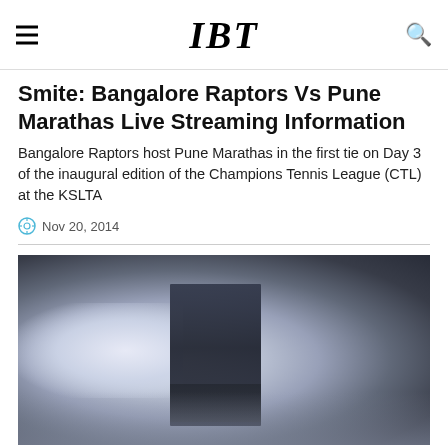IBT
Smite: Bangalore Raptors Vs Pune Marathas Live Streaming Information
Bangalore Raptors host Pune Marathas in the first tie on Day 3 of the inaugural edition of the Champions Tennis League (CTL) at the KSLTA
Nov 20, 2014
[Figure (photo): Blurred/defocused photo of a tennis player on court, dark silhouette against a hazy grey-blue background]